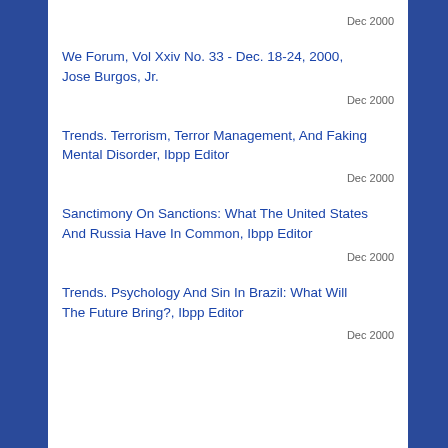Dec 2000
We Forum, Vol Xxiv No. 33 - Dec. 18-24, 2000, Jose Burgos, Jr.
Dec 2000
Trends. Terrorism, Terror Management, And Faking Mental Disorder, Ibpp Editor
Dec 2000
Sanctimony On Sanctions: What The United States And Russia Have In Common, Ibpp Editor
Dec 2000
Trends. Psychology And Sin In Brazil: What Will The Future Bring?, Ibpp Editor
Dec 2000